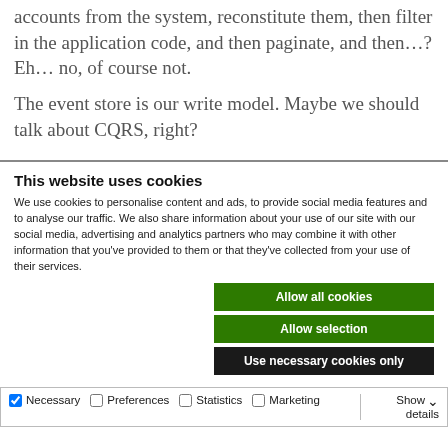accounts from the system, reconstitute them, then filter in the application code, and then paginate, and then…? Eh… no, of course not.
The event store is our write model. Maybe we should talk about CQRS, right?
This website uses cookies
We use cookies to personalise content and ads, to provide social media features and to analyse our traffic. We also share information about your use of our site with our social media, advertising and analytics partners who may combine it with other information that you've provided to them or that they've collected from your use of their services.
Allow all cookies
Allow selection
Use necessary cookies only
Necessary   Preferences   Statistics   Marketing   Show details